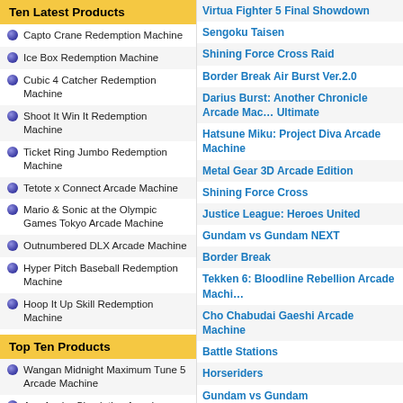Ten Latest Products
Capto Crane Redemption Machine
Ice Box Redemption Machine
Cubic 4 Catcher Redemption Machine
Shoot It Win It Redemption Machine
Ticket Ring Jumbo Redemption Machine
Tetote x Connect Arcade Machine
Mario & Sonic at the Olympic Games Tokyo Arcade Machine
Outnumbered DLX Arcade Machine
Hyper Pitch Baseball Redemption Machine
Hoop It Up Skill Redemption Machine
Top Ten Products
Wangan Midnight Maximum Tune 5 Arcade Machine
Ace Angler Simulation Arcade Machine
I-Cube Arcade Machine
Virtua Fighter 5 Final Showdown
Sengoku Taisen
Shining Force Cross Raid
Border Break Air Burst Ver.2.0
Darius Burst: Another Chronicle Arcade Machine Ultimate
Hatsune Miku: Project Diva Arcade Machine
Metal Gear 3D Arcade Edition
Shining Force Cross
Justice League: Heroes United
Gundam vs Gundam NEXT
Border Break
Tekken 6: Bloodline Rebellion Arcade Machine
Cho Chabudai Gaeshi Arcade Machine
Battle Stations
Horseriders
Gundam vs Gundam
Blazing Angels
Tekken 6
Manic Panic Ghosts
Sanguozhi War 3
Lord of Vermilion
Quest of D: The Battle Kingdom
Detakadodasu Ultra Monster
Pac Man 25th Anniversary Edition - Countertop
Answer X Answer
Eternal Wheel
Otomedius